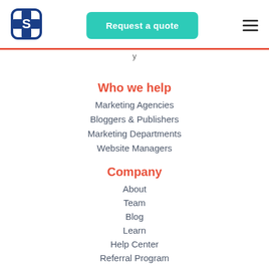[Figure (logo): Blue cross/plus medical-style logo with S shape inside]
[Figure (other): Teal rounded rectangle button with white text 'Request a quote']
[Figure (other): Hamburger menu icon (three horizontal lines)]
y
Who we help
Marketing Agencies
Bloggers & Publishers
Marketing Departments
Website Managers
Company
About
Team
Blog
Learn
Help Center
Referral Program